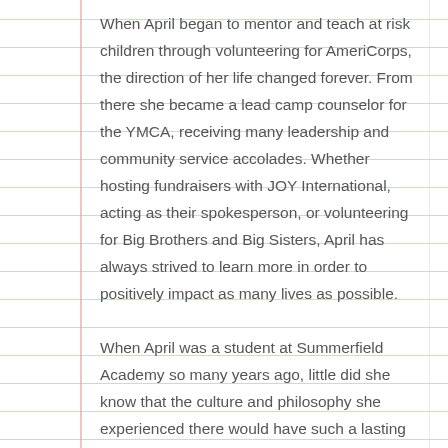When April began to mentor and teach at risk children through volunteering for AmeriCorps, the direction of her life changed forever. From there she became a lead camp counselor for the YMCA, receiving many leadership and community service accolades. Whether hosting fundraisers with JOY International, acting as their spokesperson, or volunteering for Big Brothers and Big Sisters, April has always strived to learn more in order to positively impact as many lives as possible.
When April was a student at Summerfield Academy so many years ago, little did she know that the culture and philosophy she experienced there would have such a lasting impact. Her life has come full circle as she is now the proud owner of the school that meant so much! “Working with children is something I've always dreamed of doing.” She says.
“I still remember Mrs. Clark and the smells on spaghetti day. Being a student at Summerfield